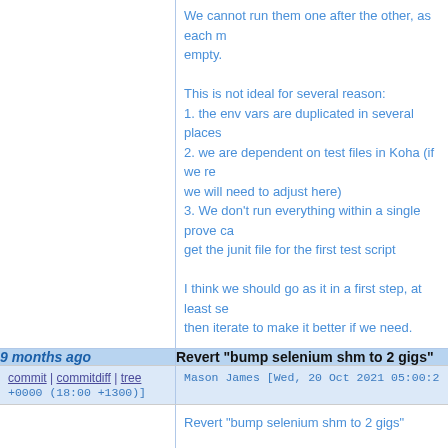We cannot run them one after the other, as each must not be empty.

This is not ideal for several reason:
1. the env vars are duplicated in several places
2. we are dependent on test files in Koha (if we re... we will need to adjust here)
3. We don't run everything within a single prove ca... get the junit file for the first test script

I think we should go as it in a first step, at least se... then iterate to make it better if we need.
9 months ago | Revert "bump selenium shm to 2 gigs"
commit | commitdiff | tree    Mason James [Wed, 20 Oct 2021 05:00:22 +0000 (18:00 +1300)]
Revert "bump selenium shm to 2 gigs"

This reverts commit 6da8337a524ab819b50758a7
9 months ago | set selenium to v3
commit | commitdiff | tree    Mason James [Wed, 20 Oct 2021 02:04:19 +0000 (15:04 +1300)]
set selenium to v3